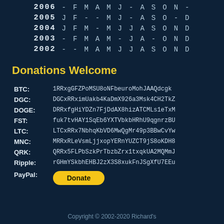| Year | J | F | M | A | M | J | J | A | S | O | N | D |
| --- | --- | --- | --- | --- | --- | --- | --- | --- | --- | --- | --- | --- |
| 2006 | - | F | M | A | M | J | - | A | S | O | N | - |
| 2005 | J | F | - | - | M | J | - | A | S | O | - | D |
| 2004 | J | F | M | - | M | J | J | A | S | O | N | D |
| 2003 | - | F | M | A | M | - | J | A | - | O | N | D |
| 2002 | - | - | M | A | M | J | J | A | S | O | N | D |
Donations Welcome
| Currency | Address |
| --- | --- |
| BTC: | 1RRxgGFZPoMSU8oNFbeuroMohJAAQdcgk |
| DGC: | DGCxRRximUakb4KaDmX926a3Msk4CH2TkZ |
| DOGE: | DRRxfgHiYDZn7FjDdAX8hizATCMLs1eTxM |
| FST: | fuk7tvHAY1SqEb6YXTVbkbHRhU9qgnrzBU |
| LTC: | LTCxRRx7NbhqKbVD6MwQgMr49p3BBwCvYw |
| MNC: | MRRxRLeVsmLjjxopYERnYUZCT9jS8oKDH8 |
| QRK: | QRRx5FLPbSzkPrTbzbZrx1txqkUA2MQMmJ |
| Ripple: | rGHmYSkbhEHBJ2zX3S8xukFnJSgXfU7EEu |
| PayPal: | Donate |
Copyright © 2002-2020 Richard's